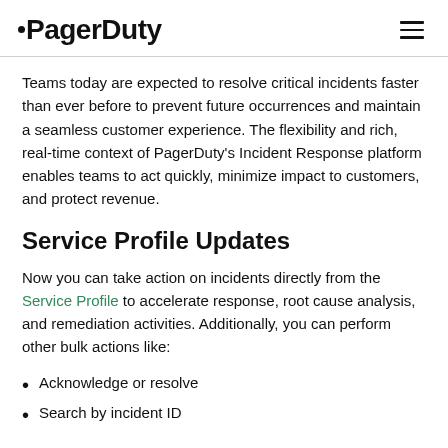PagerDuty
Teams today are expected to resolve critical incidents faster than ever before to prevent future occurrences and maintain a seamless customer experience. The flexibility and rich, real-time context of PagerDuty's Incident Response platform enables teams to act quickly, minimize impact to customers, and protect revenue.
Service Profile Updates
Now you can take action on incidents directly from the Service Profile to accelerate response, root cause analysis, and remediation activities. Additionally, you can perform other bulk actions like:
Acknowledge or resolve
Search by incident ID